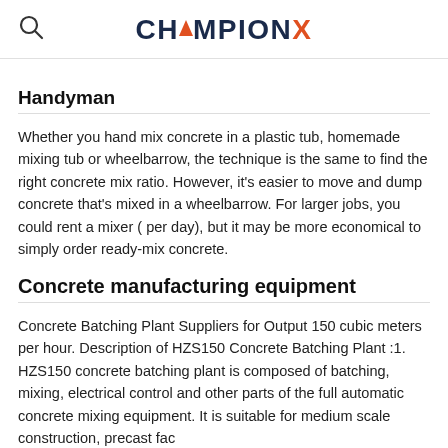CHAMPIONX
Handyman
Whether you hand mix concrete in a plastic tub, homemade mixing tub or wheelbarrow, the technique is the same to find the right concrete mix ratio. However, it's easier to move and dump concrete that's mixed in a wheelbarrow. For larger jobs, you could rent a mixer ( per day), but it may be more economical to simply order ready-mix concrete.
Concrete manufacturing equipment
Concrete Batching Plant Suppliers for Output 150 cubic meters per hour. Description of HZS150 Concrete Batching Plant :1. HZS150 concrete batching plant is composed of batching, mixing, electrical control and other parts of the full automatic concrete mixing equipment. It is suitable for medium scale construction, precast fac